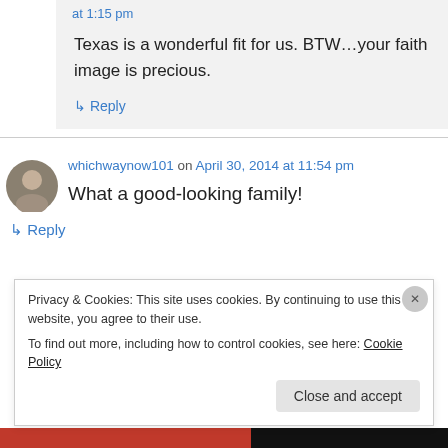at 1:15 pm
Texas is a wonderful fit for us. BTW…your faith image is precious.
↳ Reply
whichwaynow101 on April 30, 2014 at 11:54 pm
What a good-looking family!
↳ Reply
Privacy & Cookies: This site uses cookies. By continuing to use this website, you agree to their use. To find out more, including how to control cookies, see here: Cookie Policy
Close and accept